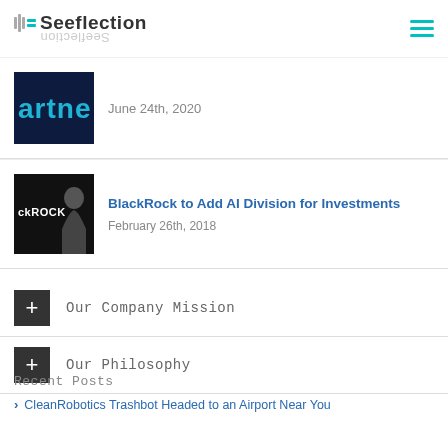Seeflection
[Figure (photo): Thumbnail image showing partial text 'artne' (partner) in blue/teal on dark background]
June 24th, 2020
[Figure (photo): Thumbnail image of BlackRock logo and person in dark suit]
BlackRock to Add AI Division for Investments
February 26th, 2018
+ Our Company Mission
+ Our Philosophy
Recent Posts
CleanRobotics Trashbot Headed to an Airport Near You